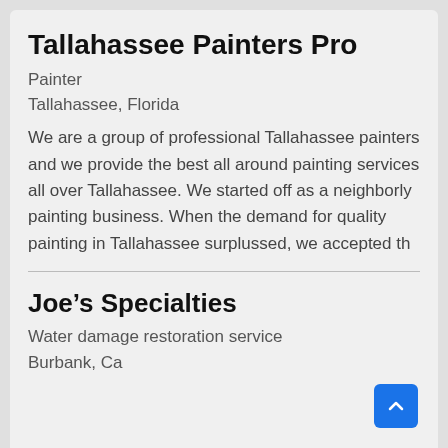Tallahassee Painters Pro
Painter
Tallahassee, Florida
We are a group of professional Tallahassee painters and we provide the best all around painting services all over Tallahassee. We started off as a neighborly painting business. When the demand for quality painting in Tallahassee surplussed, we accepted th
Joe's Specialties
Water damage restoration service
Burbank, Ca